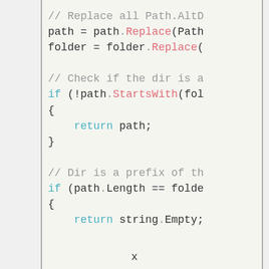// Replace all Path.AltD
path = path.Replace(Path
folder = folder.Replace(

// Check if the dir is a
if (!path.StartsWith(fol
{
    return path;
}

// Dir is a prefix of th
if (path.Length == folde
{
    return string.Empty;
}
x